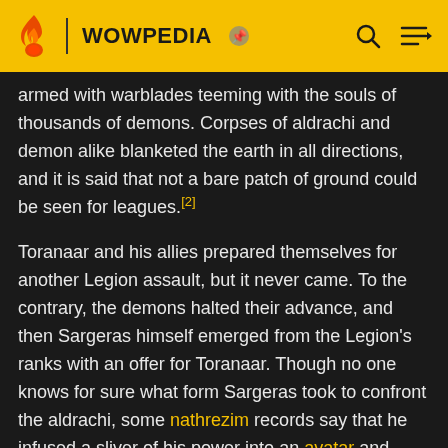WOWPEDIA
armed with warblades teeming with the souls of thousands of demons. Corpses of aldrachi and demon alike blanketed the earth in all directions, and it is said that not a bare patch of ground could be seen for leagues.[2]
Toranaar and his allies prepared themselves for another Legion assault, but it never came. To the contrary, the demons halted their advance, and then Sargeras himself emerged from the Legion's ranks with an offer for Toranaar. Though no one knows for sure what form Sargeras took to confront the aldrachi, some nathrezim records say that he infused a sliver of his power into an avatar and dispatched it to the aldrachi stronghold.
Whatever the truth, it is certain that Sargeras promised